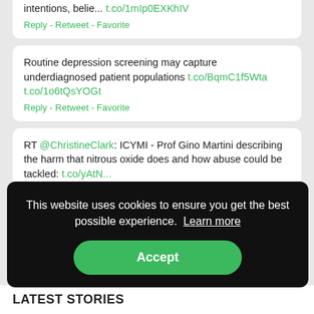intentions, belie...  t.co/1mIp0EXKhIV
Reply - Retweet - Favorite
Routine depression screening may capture underdiagnosed patient populations t.co/BqmC1f5Wta t.co/1o6tQsYOGt
Reply - Retweet - Favorite
RT @ChristineClark: ICYMI - Prof Gino Martini describing the harm that nitrous oxide does and how abuse could be tackled: t.co/yAtN...
Reply - Retweet - Favorite
This website uses cookies to ensure you get the best possible experience. Learn more
Accept
LATEST STORIES